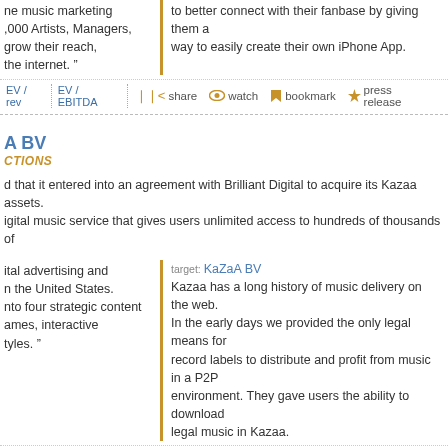ne music marketing ,000 Artists, Managers, grow their reach, the internet."
to better connect with their fanbase by giving them a way to easily create their own iPhone App.
EV / rev  EV / EBITDA  share  watch  bookmark  press release
A BV
CTIONS
d that it entered into an agreement with Brilliant Digital to acquire its Kazaa assets. igital music service that gives users unlimited access to hundreds of thousands of
ital advertising and n the United States. nto four strategic content ames, interactive tyles."
target: KaZaA BV
Kazaa has a long history of music delivery on the web. In the early days we provided the only legal means for record labels to distribute and profit from music in a P2P environment. They gave users the ability to download legal music in Kazaa.
EV / rev  EV / EBITDA  share  watch  bookmark  press release
ll